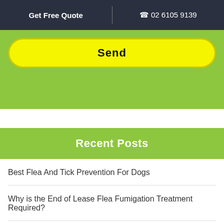Get Free Quote | 02 6105 9139
[Figure (screenshot): Yellow 'Send' button on green background]
Recent Posts
Best Flea And Tick Prevention For Dogs
Why is the End of Lease Flea Fumigation Treatment Required?